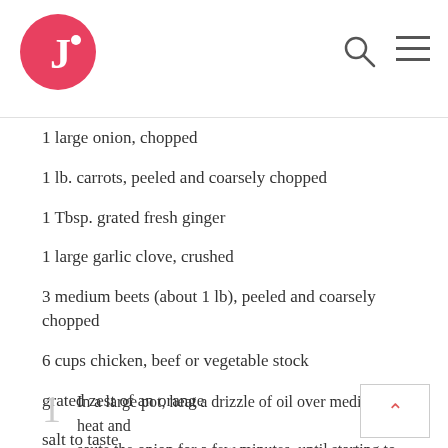J logo, search icon, hamburger menu
1 large onion, chopped
1 lb. carrots, peeled and coarsely chopped
1 Tbsp. grated fresh ginger
1 large garlic clove, crushed
3 medium beets (about 1 lb), peeled and coarsely chopped
6 cups chicken, beef or vegetable stock
grated zest of an orange
salt to taste
soft goat cheese or sour cream, for serving (optional)
1  In a large pot, heat a drizzle of oil over medium heat and saute the onion for a few minutes, until starting to soften.